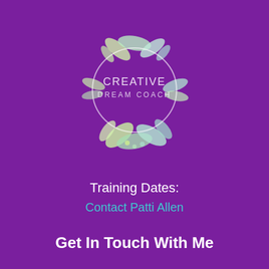[Figure (logo): Creative Dream Coach circular logo with decorative leaves and botanical elements around a circle, text reads CREATIVE DREAM COACH]
Training Dates:
Contact Patti Allen
Get In Touch With Me